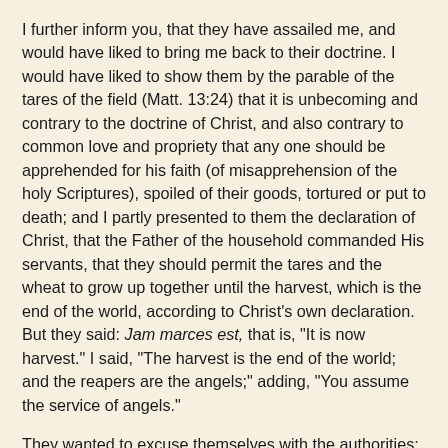I further inform you, that they have assailed me, and would have liked to bring me back to their doctrine. I would have liked to show them by the parable of the tares of the field (Matt. 13:24) that it is unbecoming and contrary to the doctrine of Christ, and also contrary to common love and propriety that any one should be apprehended for his faith (of misapprehension of the holy Scriptures), spoiled of their goods, tortured or put to death; and I partly presented to them the declaration of Christ, that the Father of the household commanded His servants, that they should permit the tares and the wheat to grow up together until the harvest, which is the end of the world, according to Christ's own declaration. But they said: Jam marces est, that is, "It is now harvest." I said, "The harvest is the end of the world; and the reapers are the angels;" adding, "You assume the service of angels."
They wanted to excuse themselves with the authorities; but I warned them, seeing that they were the teachers and preachers of the authorities; that our blood should be required at their hands, if they teach the authorities this, and encourage, constrain or counsel them thereto, as they do according to my understanding, for it is contrary to the doctrine of Christ, and the command of God. When His servants asked Him, whether they should root it out, He told